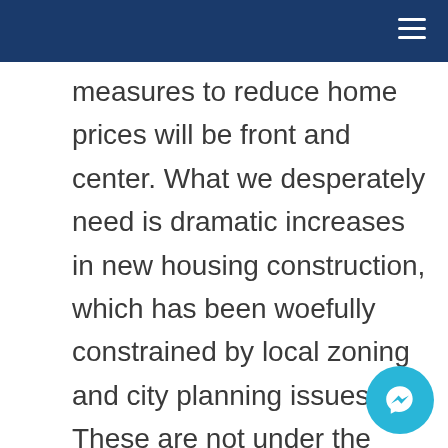measures to reduce home prices will be front and center. What we desperately need is dramatic increases in new housing construction, which has been woefully constrained by local zoning and city planning issues. These are not under the auspices of the federal government. So instead, bandaid measures that do not directly address the fundamental issue of a